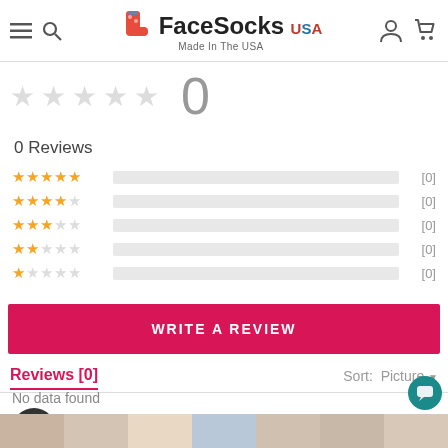FaceSocks USA - Made In The USA
[Figure (screenshot): Star rating display showing 0 out of 5 stars with a large '0' numeral]
0 Reviews
[Figure (infographic): Rating breakdown bars: 5 stars [0], 4 stars [0], 3 stars [0], 2 stars [0], 1 star [0]]
WRITE A REVIEW
Reviews [0]
Sort: Picture
No data found